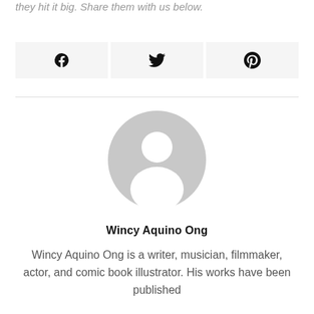they hit it big. Share them with us below.
[Figure (other): Social share buttons row: Facebook, Twitter, Pinterest icons in light grey boxes]
[Figure (photo): Generic grey avatar/profile placeholder image showing silhouette of a person]
Wincy Aquino Ong
Wincy Aquino Ong is a writer, musician, filmmaker, actor, and comic book illustrator. His works have been published